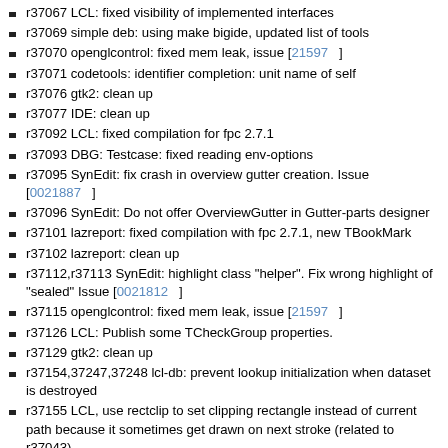r37067 LCL: fixed visibility of implemented interfaces
r37069 simple deb: using make bigide, updated list of tools
r37070 openglcontrol: fixed mem leak, issue [21597]
r37071 codetools: identifier completion: unit name of self
r37076 gtk2: clean up
r37077 IDE: clean up
r37092 LCL: fixed compilation for fpc 2.7.1
r37093 DBG: Testcase: fixed reading env-options
r37095 SynEdit: fix crash in overview gutter creation. Issue [0021887]
r37096 SynEdit: Do not offer OverviewGutter in Gutter-parts designer
r37101 lazreport: fixed compilation with fpc 2.7.1, new TBookMark
r37102 lazreport: clean up
r37112,r37113 SynEdit: highlight class "helper". Fix wrong highlight of "sealed" Issue [0021812]
r37115 openglcontrol: fixed mem leak, issue [21597]
r37126 LCL: Publish some TCheckGroup properties.
r37129 gtk2: clean up
r37154,37247,37248 lcl-db: prevent lookup initialization when dataset is destroyed
r37155 LCL, use rectclip to set clipping rectangle instead of current path because it sometimes get drawn on next stroke (related to r37043)
r37157 Qt: fixed key events from QCalendar, now tabbing works fine